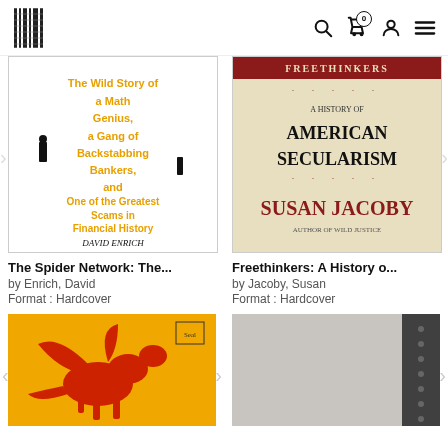[Figure (logo): Publisher logo - vertical striped book icon]
[Figure (screenshot): Navigation header with search, cart (0), user, and menu icons]
[Figure (photo): Book cover: The Spider Network - The Wild Story of a Math Genius, a Gang of Backstabbing Bankers, and One of the Greatest Scams in Financial History by David Enrich]
[Figure (photo): Book cover: Freethinkers: A History of American Secularism by Susan Jacoby]
The Spider Network: The...
by Enrich, David
Format : Hardcover
Freethinkers: A History o...
by Jacoby, Susan
Format : Hardcover
[Figure (photo): Book cover with yellow/orange background featuring a red dragon illustration]
[Figure (photo): Book cover - gray/black and white minimalist design]